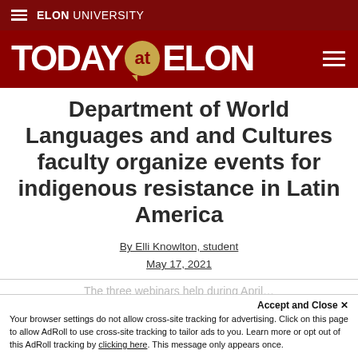ELON UNIVERSITY
[Figure (logo): Today at Elon banner logo with hamburger menu icons]
Department of World Languages and and Cultures faculty organize events for indigenous resistance in Latin America
By Elli Knowlton, student
May 17, 2021
Accept and Close ✕
Your browser settings do not allow cross-site tracking for advertising. Click on this page to allow AdRoll to use cross-site tracking to tailor ads to you. Learn more or opt out of this AdRoll tracking by clicking here. This message only appears once.